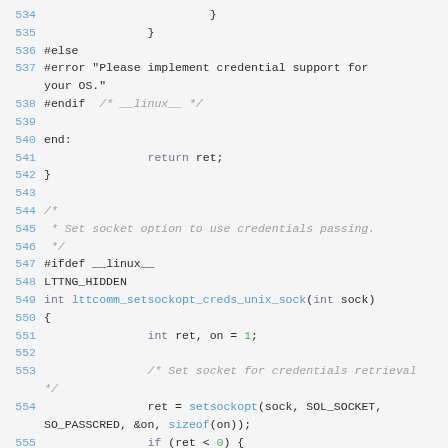[Figure (screenshot): Source code listing lines 534–555 of a C file showing socket credential support implementation with preprocessor directives and function definition for lttcomm_setsockopt_creds_unix_sock]